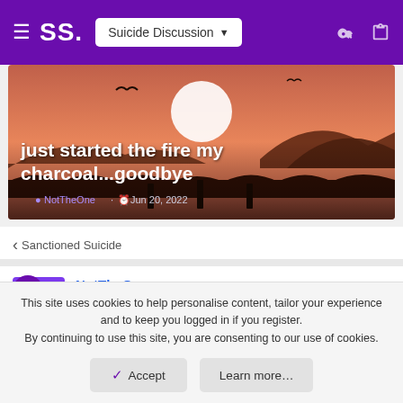SS. | Suicide Discussion
[Figure (illustration): Sunset landscape with mountains, trees, birds, dock, and water. Warm orange/red tones with a large white moon/sun.]
just started the fire my charcoal...goodbye
NotTheOne · Jun 20, 2022
< Sanctioned Suicide
NotTheOne
Member
This site uses cookies to help personalise content, tailor your experience and to keep you logged in if you register. By continuing to use this site, you are consenting to our use of cookies.
✓ Accept
Learn more...